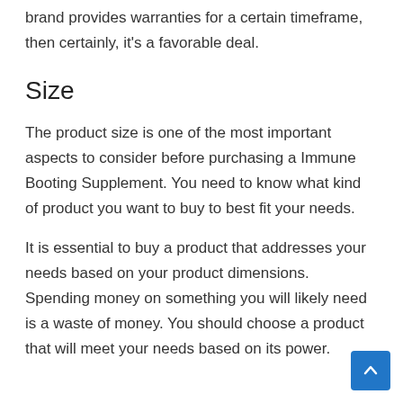brand provides warranties for a certain timeframe, then certainly, it's a favorable deal.
Size
The product size is one of the most important aspects to consider before purchasing a Immune Booting Supplement. You need to know what kind of product you want to buy to best fit your needs.
It is essential to buy a product that addresses your needs based on your product dimensions. Spending money on something you will likely need is a waste of money. You should choose a product that will meet your needs based on its power.